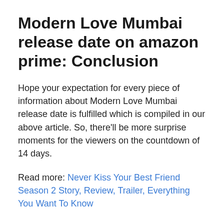Modern Love Mumbai release date on amazon prime: Conclusion
Hope your expectation for every piece of information about Modern Love Mumbai release date is fulfilled which is compiled in our above article. So, there'll be more surprise moments for the viewers on the countdown of 14 days.
Read more: Never Kiss Your Best Friend Season 2 Story, Review, Trailer, Everything You Want To Know
FAQs – Modern Love